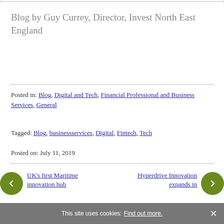Blog by Guy Currey, Director, Invest North East England
Posted in: Blog, Digital and Tech, Financial Professional and Business Services, General
Tagged: Blog, businessservices, Digital, Fintech, Tech
Posted on: July 11, 2019
UK’s first Maritime innovation hub
Hyperdrive Innovation expands in
This site uses cookies: Find out more.